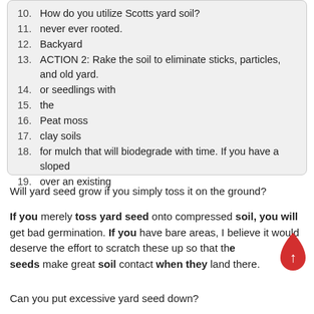10.  How do you utilize Scotts yard soil?
11.  never ever rooted.
12.  Backyard
13.  ACTION 2: Rake the soil to eliminate sticks, particles, and old yard.
14.  or seedlings with
15.  the
16.  Peat moss
17.  clay soils
18.  for mulch that will biodegrade with time. If you have a sloped
19.  over an existing
Will yard seed grow if you simply toss it on the ground?
If you merely toss yard seed onto compressed soil, you will get bad germination. If you have bare areas, I believe it would deserve the effort to scratch these up so that the seeds make great soil contact when they land there.
Can you put excessive yard seed down?